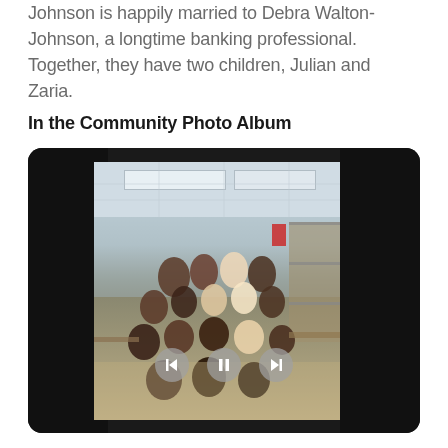Johnson is happily married to Debra Walton-Johnson, a longtime banking professional. Together, they have two children, Julian and Zaria.
In the Community Photo Album
[Figure (photo): A classroom photo showing a group of elementary school children posing together inside a classroom, displayed in a dark-bordered media player frame with playback controls (back, pause, forward).]